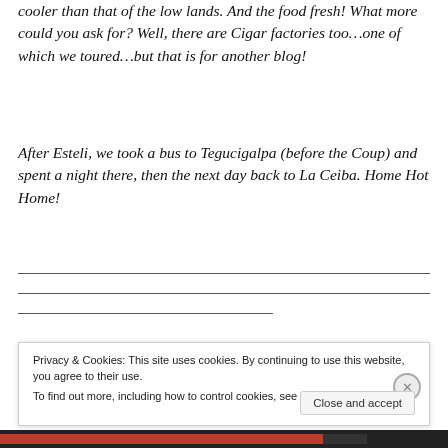cooler than that of the low lands. And the food fresh! What more could you ask for? Well, there are Cigar factories too…one of which we toured…but that is for another blog!
After Esteli, we took a bus to Tegucigalpa (before the Coup) and spent a night there, then the next day back to La Ceiba. Home Hot Home!
Privacy & Cookies: This site uses cookies. By continuing to use this website, you agree to their use.
To find out more, including how to control cookies, see here: Cookie Policy